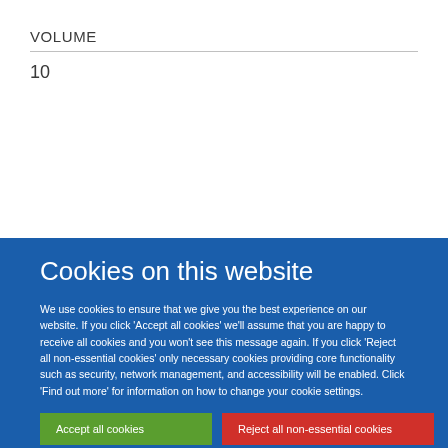VOLUME
10
KEYWORDS
Cookies on this website
We use cookies to ensure that we give you the best experience on our website. If you click 'Accept all cookies' we'll assume that you are happy to receive all cookies and you won't see this message again. If you click 'Reject all non-essential cookies' only necessary cookies providing core functionality such as security, network management, and accessibility will be enabled. Click 'Find out more' for information on how to change your cookie settings.
Accept all cookies
Reject all non-essential cookies